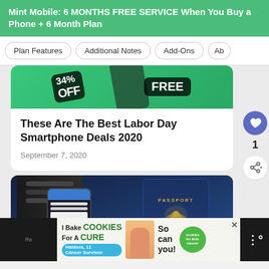Mint Mobile: 6 MONTHS FREE SERVICE When You Buy a Phone + 6 Month Plan
Plan Features
Additional Notes
Add-Ons
Ab...
[Figure (photo): Partial image showing green background with '34% OFF' and 'FREE' text badges over a smartphone]
These Are The Best Labor Day Smartphone Deals 2020
September 7, 2020
[Figure (photo): Photo of a passport, smartphone, and luggage on a dark blue background. Shows a US passport, a phone displaying a web page, and a piece of luggage.]
WHAT'S NEXT → Allvoi Unlimited...
[Figure (screenshot): Advertisement banner: 'I Bake COOKIES For A CURE - Haldora, 11 Cancer Survivor' with 'So can you!' and cookies for kids cancer logo. Close button visible.]
Re...
1